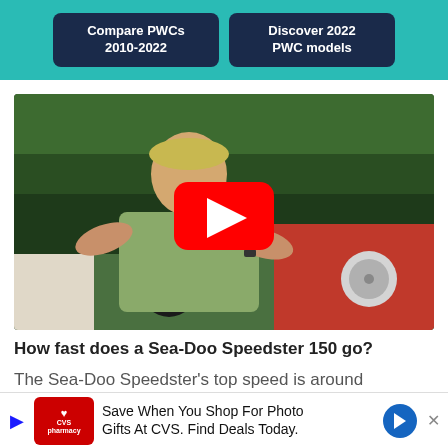Compare PWCs 2010-2022 | Discover 2022 PWC models
[Figure (screenshot): Video thumbnail showing a man in a tan cap and olive shirt seated at the steering wheel of a red and white boat on a green lake, with a YouTube play button overlay in the center.]
How fast does a Sea-Doo Speedster 150 go?
The Sea-Doo Speedster's top speed is around
45-4... 155... was...
[Figure (screenshot): CVS Pharmacy advertisement banner: Save When You Shop For Photo Gifts At CVS. Find Deals Today.]